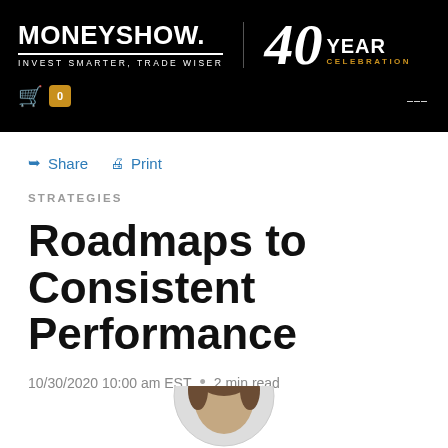MONEYSHOW. INVEST SMARTER, TRADE WISER | 40 YEAR CELEBRATION
Share  Print
STRATEGIES
Roadmaps to Consistent Performance
10/30/2020 10:00 am EST · 2 min read
[Figure (photo): Author headshot, circular crop, partial view at bottom of page]